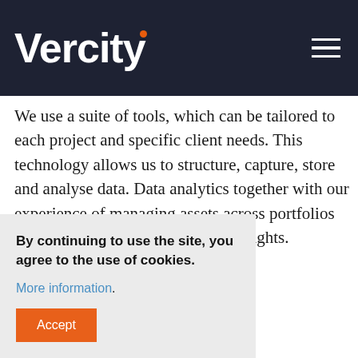Vercity
We use a suite of tools, which can be tailored to each project and specific client needs. This technology allows us to structure, capture, store and analyse data. Data analytics together with our experience of managing assets across portfolios allows us to to provide strategic insights.
By continuing to use the site, you agree to the use of cookies.

More information.

Accept